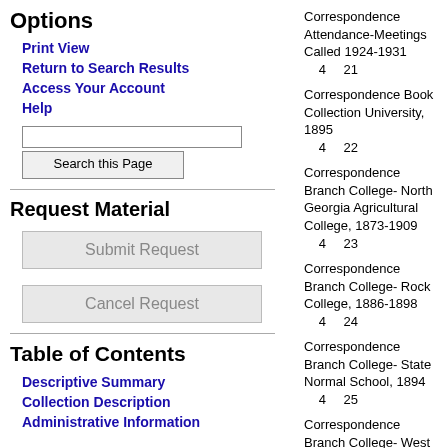Options
Print View
Return to Search Results
Access Your Account
Help
Request Material
Table of Contents
Descriptive Summary
Collection Description
Administrative Information
4  21  Correspondence Attendance-Meetings Called 1924-1931
4  22  Correspondence Book Collection University, 1895
4  23  Correspondence Branch College- North Georgia Agricultural College, 1873-1909
4  24  Correspondence Branch College- Rock College, 1886-1898
4  25  Correspondence Branch College- State Normal School, 1894
4     Correspondence Branch College- West Georgia Agricultural